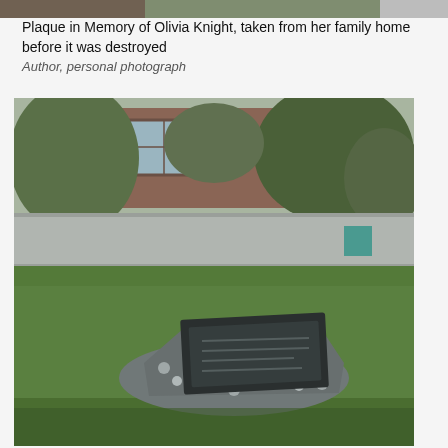[Figure (photo): Partial photo strip at top of page showing outdoor scene, cropped]
Plaque in Memory of Olivia Knight, taken from her family home before it was destroyed
Author, personal photograph
[Figure (photo): Photograph of a dark stone memorial plaque mounted on a rough stone base, sitting on a green lawn. A concrete wall and building with window visible in background, surrounded by trees and shrubs. Overcast day.]